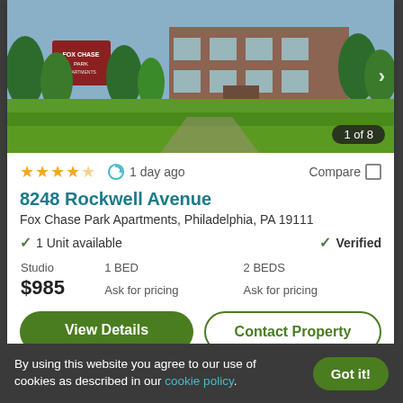[Figure (photo): Exterior photo of Fox Chase Park Apartments showing a brick apartment building with green lawn and trees, with a property sign visible. Shows '1 of 8' badge.]
★★★★★ 1 day ago Compare
8248 Rockwell Avenue
Fox Chase Park Apartments, Philadelphia, PA 19111
✓ 1 Unit available   ✓ Verified
| Studio | 1 BED | 2 BEDS |
| --- | --- | --- |
| $985 | Ask for pricing | Ask for pricing |
View Details   Contact Property
By using this website you agree to our use of cookies as described in our cookie policy.